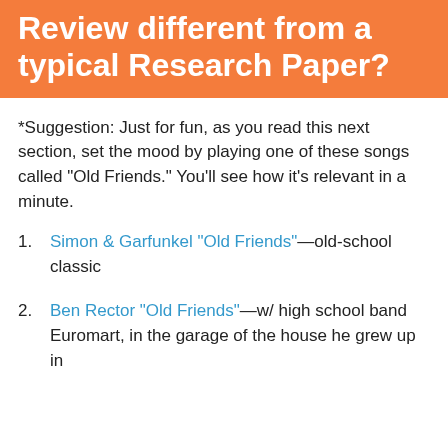Review different from a typical Research Paper?
*Suggestion: Just for fun, as you read this next section, set the mood by playing one of these songs called "Old Friends." You'll see how it's relevant in a minute.
Simon & Garfunkel "Old Friends"—old-school classic
Ben Rector "Old Friends"—w/ high school band Euromart, in the garage of the house he grew up in